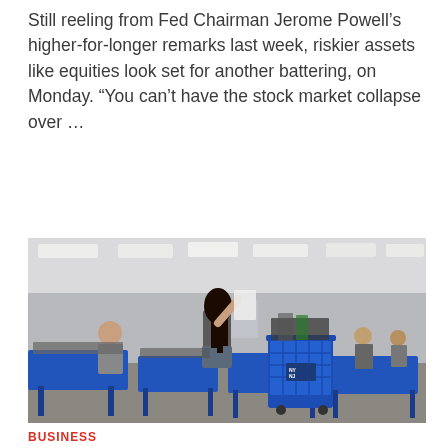Still reeling from Fed Chairman Jerome Powell’s higher-for-longer remarks last week, riskier assets like equities look set for another battering, on Monday. “You can’t have the stock market collapse over …
READ MORE
[Figure (photo): People sorting through items in a large warehouse store with blue shopping carts and blue sorting tables, under fluorescent ceiling lights. A woman with long dark hair in a gray shirt and denim shorts is holding up a plastic bag. Other shoppers are visible in the background.]
BUSINESS